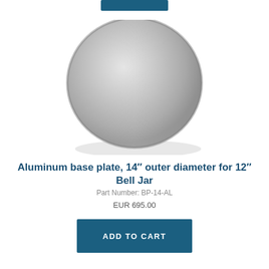[Figure (photo): A circular aluminum base plate with brushed metal finish, photographed from above at a slight angle. The plate is round and flat, with a silver-gray metallic appearance.]
Aluminum base plate, 14″ outer diameter for 12″ Bell Jar
Part Number: BP-14-AL
EUR 695.00
ADD TO CART